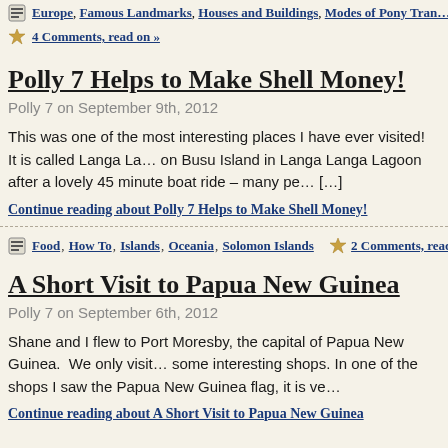Europe, Famous Landmarks, Houses and Buildings, Modes of Pony Tran…
4 Comments, read on »
Polly 7 Helps to Make Shell Money!
Polly 7 on September 9th, 2012
This was one of the most interesting places I have ever visited!  It is called Langa La… on Busu Island in Langa Langa Lagoon after a lovely 45 minute boat ride – many pe… […]
Continue reading about Polly 7 Helps to Make Shell Money!
Food, How To, Islands, Oceania, Solomon Islands
2 Comments, read on…
A Short Visit to Papua New Guinea
Polly 7 on September 6th, 2012
Shane and I flew to Port Moresby, the capital of Papua New Guinea.  We only visit… some interesting shops. In one of the shops I saw the Papua New Guinea flag, it is ve…
Continue reading about A Short Visit to Papua New Guinea